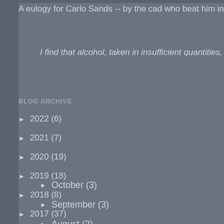A eulogy for Carlo Sands -- by the cad who beat him in a due
I find that alcohol, taken in insufficient quantities, brin
BLOG ARCHIVE
► 2022 (6)
► 2021 (7)
► 2020 (19)
► 2019 (18)
► 2018 (8)
► 2017 (37)
► 2016 (26)
▼ 2015 (36)
► October (3)
► September (3)
► August (2)